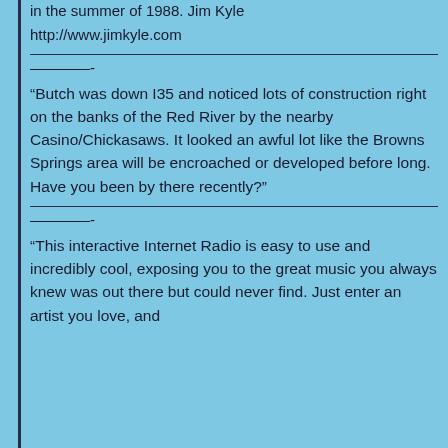in the summer of 1988.  Jim Kyle
http://www.jimkyle.com
————-
“Butch was down I35 and noticed lots of construction right on the banks of the Red River by the nearby Casino/Chickasaws. It looked an awful lot like the Browns Springs area will be encroached or developed before long. Have you been by there recently?”
————-
“This interactive Internet Radio is easy to use and incredibly cool, exposing you to the great music you always knew was out there but could never find. Just enter an artist you love, and